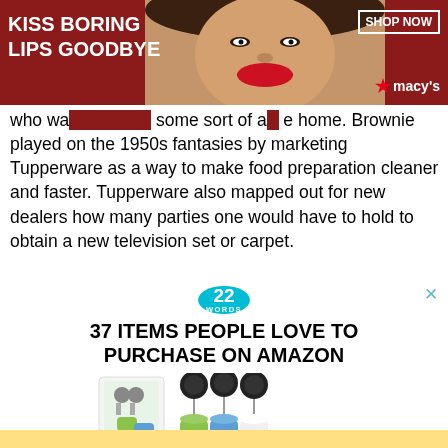[Figure (photo): Advertisement banner for Macy's lipstick product. Dark red background with a woman's face showing red lips. Bold white text reads 'KISS BORING LIPS GOODBYE'. Top right has a white-bordered box 'SHOP NOW' and Macy's star logo.]
who wa... some sort of a... e home. Brownie played on the 1950s fantasies by marketing Tupperware as a way to make food preparation cleaner and faster. Tupperware also mapped out for new dealers how many parties one would have to hold to obtain a new television set or carpet.
[Figure (infographic): Advertisement: '22 WORDS' teal circular badge logo. Bold text '37 ITEMS PEOPLE LOVE TO PURCHASE ON AMAZON'. Image of retractable badge reel set with silicone travel bottles in green, blue, and white. An X close button in top right.]
[Figure (other): Yellow/gold horizontal bar at the bottom of the page, partial advertisement.]